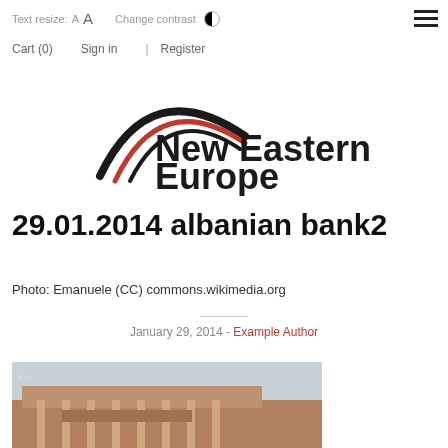Text resize: A A   Change contrast
Cart (0)   Sign in  |  Register
[Figure (logo): New Eastern Europe logo with crescent arc in black and red and bold text]
29.01.2014 albanian bank2
Photo: Emanuele (CC) commons.wikimedia.org
January 29, 2014 - Example Author
[Figure (photo): Photograph of an Albanian bank building, a large classical structure with columns]